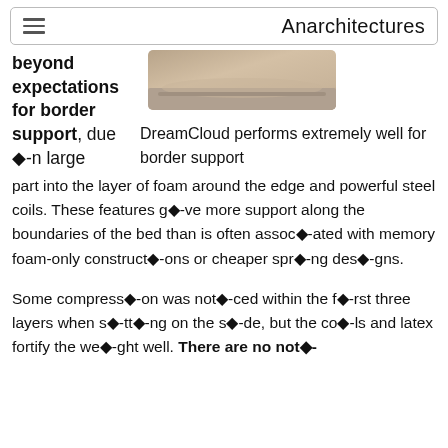Anarchitectures
[Figure (photo): Partial photo of a mattress corner showing beige/tan upholstery]
beyond expectations for border support, due ◆-n large part into the layer of foam around the edge and powerful steel coils. These features g◆-ve more support along the boundaries of the bed than is often assoc◆-ated with memory foam-only construct◆-ons or cheaper spr◆-ng des◆-gns.
DreamCloud performs extremely well for border support
Some compress◆-on was not◆-ced within the f◆-rst three layers when s◆-tt◆-ng on the s◆-de, but the co◆-ls and latex fortify the we◆-ght well. There are no not◆-